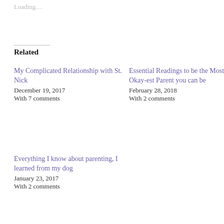Loading...
Related
My Complicated Relationship with St. Nick
December 19, 2017
With 7 comments
Essential Readings to be the Most Okay-est Parent you can be
February 28, 2018
With 2 comments
Everything I know about parenting, I learned from my dog
January 23, 2017
With 2 comments